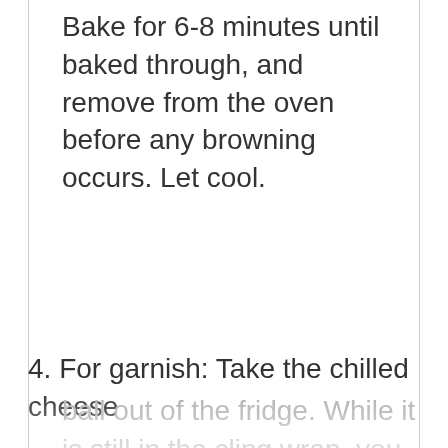Bake for 6-8 minutes until baked through, and remove from the oven before any browning occurs. Let cool.
4. For garnish: Take the chilled cheese ball out of the fridge. While it is still in the cling wrap, you can reshape it if